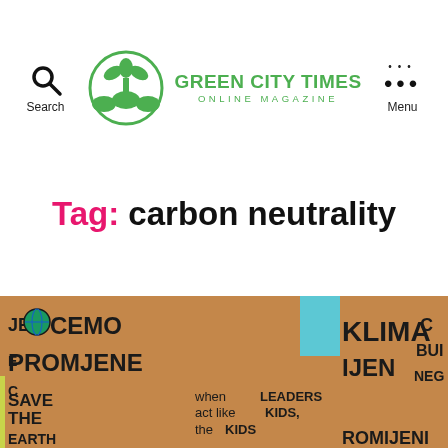Green City Times Online Magazine
Tag: carbon neutrality
[Figure (photo): Climate protest signs including 'Hocemo Promjene', 'Klima Mijene', 'Save the Earth', 'when LEADERS act like KIDS, the KIDS', and 'Romijenie' written on cardboard protest placards]